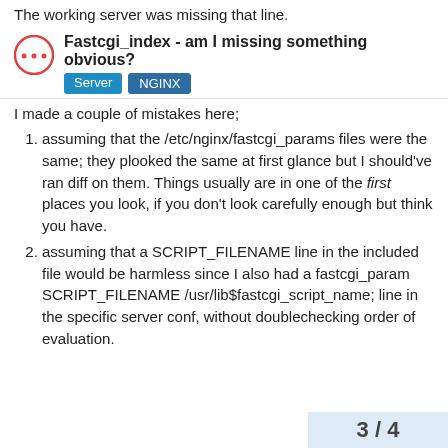The working server was missing that line.
Fastcgi_index - am I missing something obvious?
I made a couple of mistakes here;
assuming that the /etc/nginx/fastcgi_params files were the same; they plooked the same at first glance but I should've ran diff on them. Things usually are in one of the first places you look, if you don't look carefully enough but think you have.
assuming that a SCRIPT_FILENAME line in the included file would be harmless since I also had a fastcgi_param SCRIPT_FILENAME /usr/lib$fastcgi_script_name; line in the specific server conf, without doublechecking order of evaluation.
3 / 4